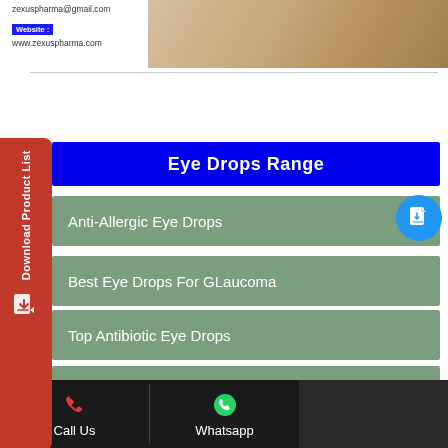[Figure (photo): Partial view of a person's face/hands resting, with contact info text overlay showing email and website for zexuspharma]
zexuspharma@gmail.com
Website : www.zexuspharma.com
Eye Drops Range
Anti-Allergic Eye Drops
Best Eye Drops For GLaucoma
Top Antibiotic Eye Drops
Antifugal Eye Drops
Top Lubricating Eye Drops
Call Us
Whatsapp